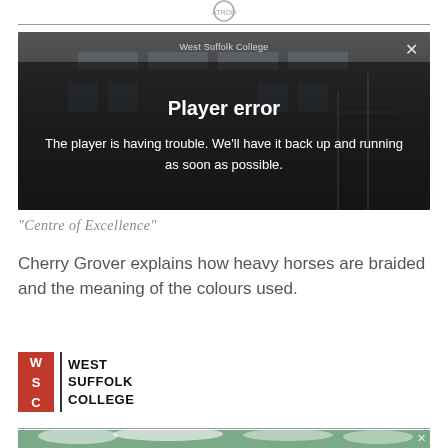[Figure (screenshot): Video player showing a building (West Suffolk College) with a dark overlay and a 'Player error' message. Text reads: 'Player error' and 'The player is having trouble. We'll have it back up and running as soon as possible.' A close (×) button is in the top right.]
"Centre of Excellence"
Cherry Grover explains how heavy horses are braided and the meaning of the colours used.
[Figure (logo): West Suffolk College logo: WSC letters in red squares on the left, vertical black divider, then WEST SUFFOLK COLLEGE text in bold black capitals.]
[Figure (photo): Partial image at the bottom of the page, appears to show an outdoor scene with clouds and greenery.]